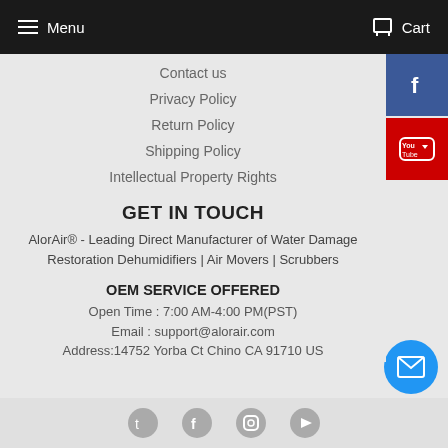Menu  Cart
Contact us
Privacy Policy
Return Policy
Shipping Policy
Intellectual Property Rights
GET IN TOUCH
AlorAir® - Leading Direct Manufacturer of Water Damage Restoration Dehumidifiers | Air Movers | Scrubbers
OEM SERVICE OFFERED
Open Time : 7:00 AM-4:00 PM(PST)
Email : support@alorair.com
Address:14752 Yorba Ct Chino CA 91710 US